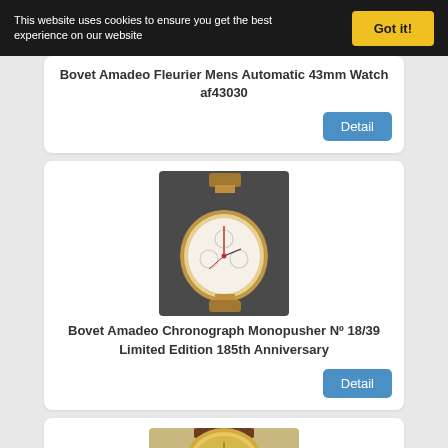This website uses cookies to ensure you get the best experience on our website
Got it!
Bovet Amadeo Fleurier Mens Automatic 43mm Watch af43030
Detail
[Figure (photo): Photo of Bovet Amadeo Chronograph Monopusher watch, round face with white dial, gold case, displayed on a dark background]
Bovet Amadeo Chronograph Monopusher Nº 18/39 Limited Edition 185th Anniversary
Detail
[Figure (photo): Photo of a Bovet watch with gold case and brown leather strap, round face with gold/cream dial]